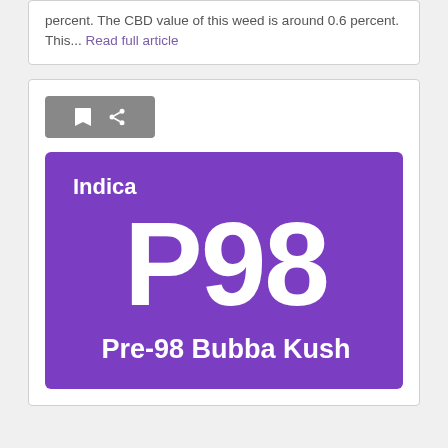percent. The CBD value of this weed is around 0.6 percent. This... Read full article
[Figure (illustration): Purple strain card showing 'Indica' label at top left, large 'P98' text in center, and 'Pre-98 Bubba Kush' label at bottom, white text on purple background]
Pre-98 Bubba Kush